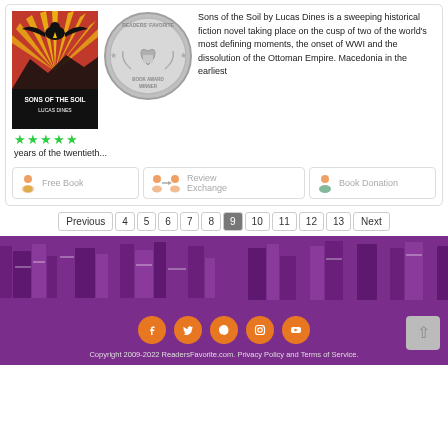[Figure (illustration): Book cover for Sons of the Soil by Lucas Dines with red/yellow sun rays and black eagle on top, title text on black background, 5 green stars below]
[Figure (logo): Readers Favorite Book Award Winner silver medal/seal]
Sons of the Soil by Lucas Dines is a sweeping historical fiction novel taking place on the cusp of two of the world's most defining moments, the onset of WWI and the dissolution of the Ottoman Empire. Macedonia in the earliest years of the twentieth...
Free Book
Review Exchange
Book Donation
Previous 4 5 6 7 8 9 10 11 12 13 Next
[Figure (illustration): Purple decorative banner with silhouettes of stacked books]
[Figure (infographic): Social media icons: Facebook, Twitter, Pinterest, Instagram, YouTube on orange circles]
Copyright 2009-2022 ReadersFavorite.com. Privacy Policy and Terms of Service.